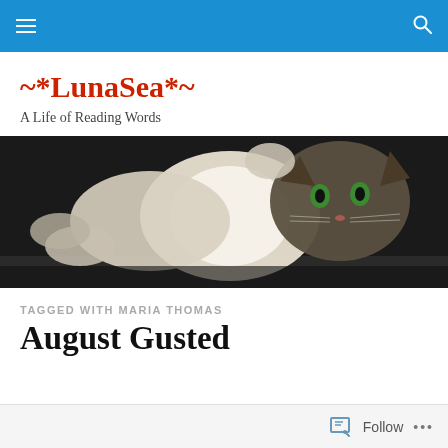navigation bar with hamburger menu and search icon
~*LunaSea*~
A Life of Reading Words
[Figure (photo): A cat lying on its back with green eyes visible, photographed against a dark background with bright backlight.]
TAGGED WITH MARIA THOMAS
August Gusted
Follow ...